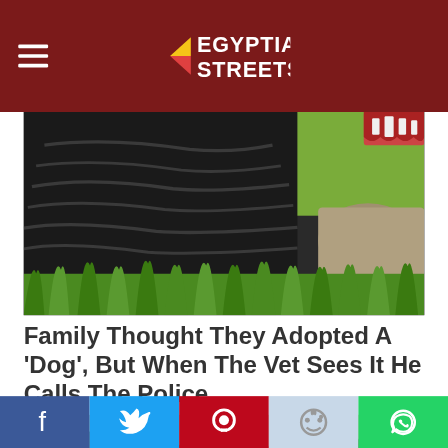Egyptian Streets
[Figure (photo): Close-up photo of a large black animal (bear or similar large mammal) standing in tall grass, with another smaller animal or rock visible in the background. The image is cropped showing mostly the dark fur and body of the animal near green grass.]
Family Thought They Adopted A 'Dog', But When The Vet Sees It He Calls The Police
Highly-Healthy
[Figure (photo): Sepia-toned vintage photograph of a large farmhouse or estate with trees surrounding it and open grounds in the foreground.]